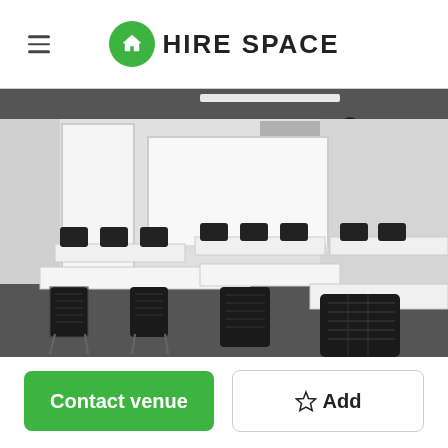HIRE SPACE
[Figure (photo): Interior of a meeting/training room with white walls, two large whiteboards mounted on the wall, multiple white rectangular tables arranged in rows, and black mesh-back chairs. Industrial-style ceiling with exposed ducts and pendant lighting.]
Contact venue
☆ Add